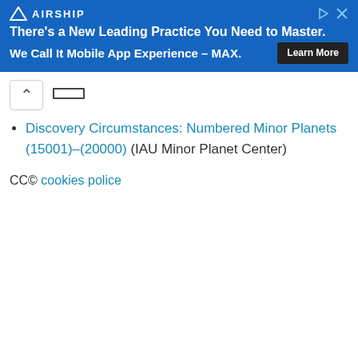[Figure (screenshot): Airship advertisement banner with blue background. Shows Airship logo, headline 'There's a New Leading Practice You Need to Master. We Call It Mobile App Experience – MAX.' with a 'Learn More' button.]
Discovery Circumstances: Numbered Minor Planets (15001)–(20000) (IAU Minor Planet Center)
CC© cookies police